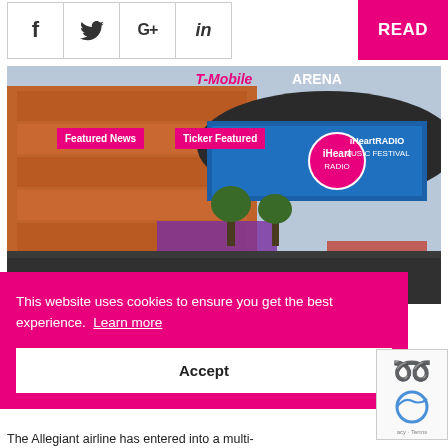[Figure (screenshot): Social share icons bar with Facebook (f), Twitter (bird), Google+ (G+), LinkedIn (in) icons, and a pink READ button on the right]
[Figure (photo): T-Mobile Arena exterior with iHeartRadio Music Festival signage, crowd of people in foreground, orange/wood facade, large LED display. Badges: 'Featured News' and 'Ticker Featured' overlaid in pink.]
This website uses cookies to ensure you get the best experience. Learn more
Accept
The Allegiant airline has entered into a multi-